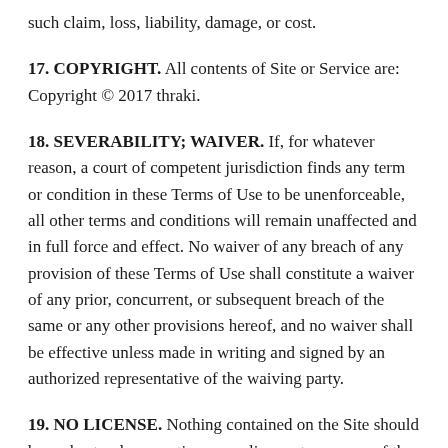such claim, loss, liability, damage, or cost.
17. COPYRIGHT. All contents of Site or Service are: Copyright © 2017 thraki.
18. SEVERABILITY; WAIVER. If, for whatever reason, a court of competent jurisdiction finds any term or condition in these Terms of Use to be unenforceable, all other terms and conditions will remain unaffected and in full force and effect. No waiver of any breach of any provision of these Terms of Use shall constitute a waiver of any prior, concurrent, or subsequent breach of the same or any other provisions hereof, and no waiver shall be effective unless made in writing and signed by an authorized representative of the waiving party.
19. NO LICENSE. Nothing contained on the Site should be understood as granting you a license to use any of the trademarks, service marks, or logos owned by us or by any